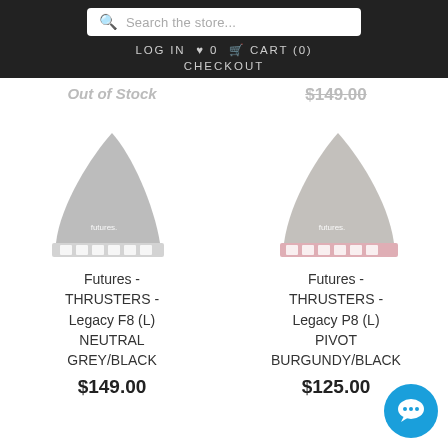Search the store...
LOG IN  ♥ 0  🛒 CART (0)  CHECKOUT
Out of Stock  $149.00
[Figure (illustration): Surfboard fin product image - grey fin with 'futures.' branding, neutral grey/black colorway]
Futures - THRUSTERS - Legacy F8 (L) NEUTRAL GREY/BLACK
$149.00
[Figure (illustration): Surfboard fin product image - grey fin with pink base and 'futures.' branding, pivot burgundy/black colorway]
Futures - THRUSTERS - Legacy P8 (L) PIVOT BURGUNDY/BLACK
$125.00